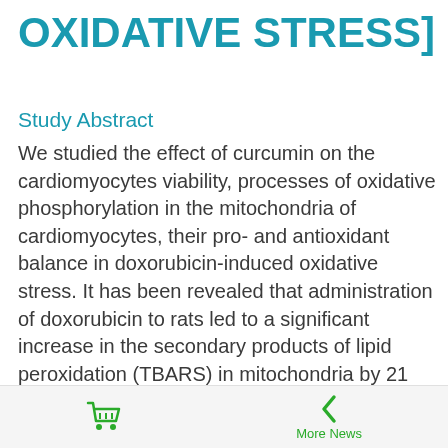OXIDATIVE STRESS]
Study Abstract
We studied the effect of curcumin on the cardiomyocytes viability, processes of oxidative phosphorylation in the mitochondria of cardiomyocytes, their pro- and antioxidant balance in doxorubicin-induced oxidative stress. It has been revealed that administration of doxorubicin to rats led to a significant increase in the secondary products of lipid peroxidation (TBARS) in mitochondria by 21 and H(2)0(2) by 76%, reduction of the enzymatic activity of mitochondrial Mn-SOD by 14% and intensified catalase activity by 80%
More News